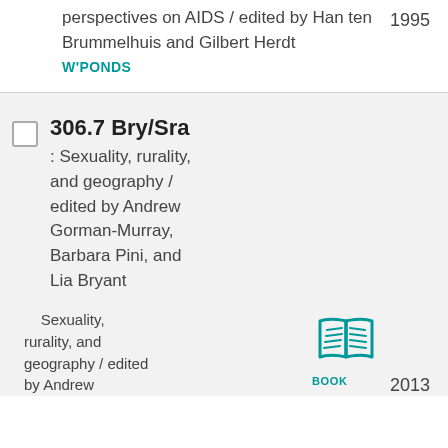perspectives on AIDS / edited by Han ten Brummelhuis and Gilbert Herdt
1995
W'PONDS
306.7 Bry/Sra
: Sexuality, rurality, and geography / edited by Andrew Gorman-Murray, Barbara Pini, and Lia Bryant
Sexuality, rurality, and geography / edited by Andrew
[Figure (illustration): Teal book icon with 'BOOK' label underneath]
2013